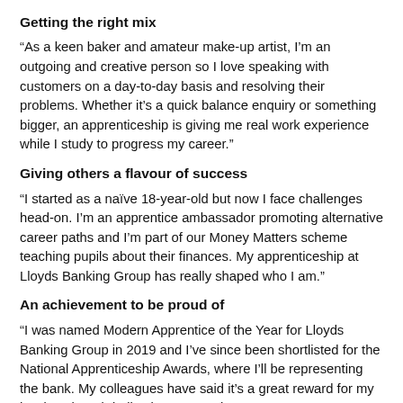Getting the right mix
“As a keen baker and amateur make-up artist, I’m an outgoing and creative person so I love speaking with customers on a day-to-day basis and resolving their problems. Whether it’s a quick balance enquiry or something bigger, an apprenticeship is giving me real work experience while I study to progress my career.”
Giving others a flavour of success
“I started as a naïve 18-year-old but now I face challenges head-on. I’m an apprentice ambassador promoting alternative career paths and I’m part of our Money Matters scheme teaching pupils about their finances. My apprenticeship at Lloyds Banking Group has really shaped who I am.”
An achievement to be proud of
“I was named Modern Apprentice of the Year for Lloyds Banking Group in 2019 and I’ve since been shortlisted for the National Apprenticeship Awards, where I’ll be representing the bank. My colleagues have said it’s a great reward for my hard work and dedication to my role.”
Interested in learning, earning and helping us to build the bank of